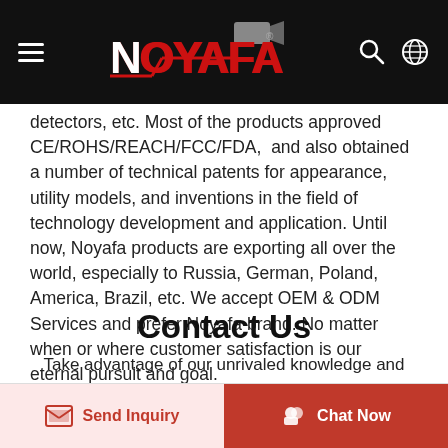NOYAFA (logo/navigation bar)
detectors, etc.  Most of the products approved CE/ROHS/REACH/FCC/FDA,  and also obtained a number of technical patents for appearance, utility models, and inventions in the field of technology development and application. Until now, Noyafa products are exporting all over the world, especially to Russia, German, Poland, America, Brazil, etc. We accept OEM & ODM Services and prefer Noyafa brand. No matter when or where customer satisfaction is our eternal pursuit and goal. The offered product is widely appreciated among our clients for these features.
Contact Us
Take advantage of our unrivaled knowledge and experience, we offer you the best customization service.
Send Inquiry
Chat Now